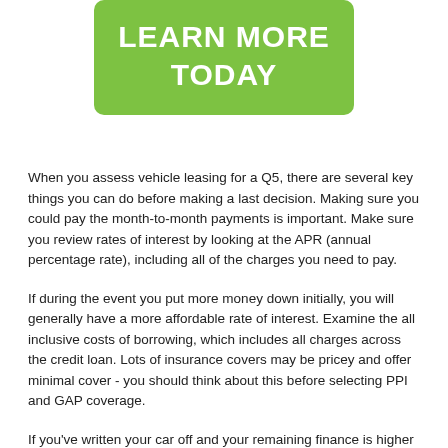LEARN MORE TODAY
When you assess vehicle leasing for a Q5, there are several key things you can do before making a last decision. Making sure you could pay the month-to-month payments is important. Make sure you review rates of interest by looking at the APR (annual percentage rate), including all of the charges you need to pay.
If during the event you put more money down initially, you will generally have a more affordable rate of interest. Examine the all inclusive costs of borrowing, which includes all charges across the credit loan. Lots of insurance covers may be pricey and offer minimal cover - you should think about this before selecting PPI and GAP coverage.
If you've written your car off and your remaining finance is higher than your vehicle's worth, GAP cover should pay out. In the event